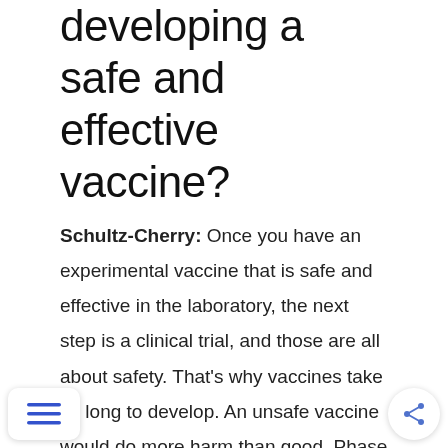developing a safe and effective vaccine?
Schultz-Cherry: Once you have an experimental vaccine that is safe and effective in the laboratory, the next step is a clinical trial, and those are all about safety. That's why vaccines take so long to develop. An unsafe vaccine would do more harm than good. Phase I clinical trials are small and focus on safety. Phase II trials are larger, and you start focusing on effectiveness–like the antibody response,